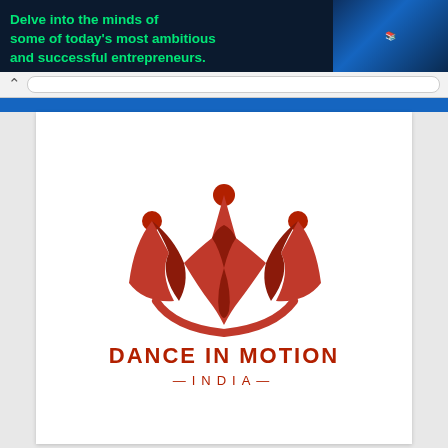[Figure (illustration): Advertisement banner with dark blue/navy background and green bold text: 'Delve into the minds of some of today's most ambitious and successful entrepreneurs.' with book imagery on the right and an ad close button (▷ ×) in top-right corner.]
[Figure (logo): Dance In Motion India logo: a stylized red crown/dance figure mark above the text 'DANCE IN MOTION' in bold red uppercase letters and '—INDIA—' in spaced red uppercase letters with decorative dashes on both sides.]